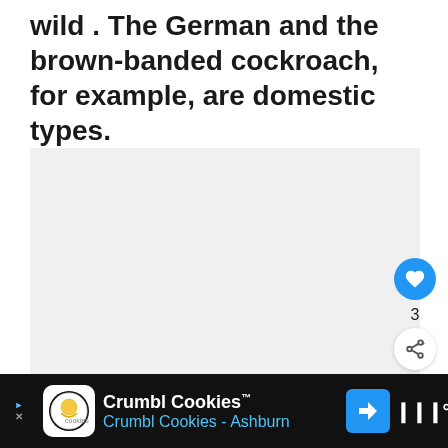wild . The German and the brown-banded cockroach, for example, are domestic types.
[Figure (photo): Large light gray image placeholder area, likely containing a cockroach photo]
[Figure (infographic): Social interaction sidebar with like button (heart icon, blue circle), count of 3, and share button]
[Figure (infographic): What's Next panel showing a thumbnail of a cockroach and text: WHAT'S NEXT → What Is a Cockroach? ...]
[Figure (infographic): Advertisement banner: Crumbl Cookies™ / Crumbl Cookies - Ashburn, with cookie logo and navigation icons on black background]